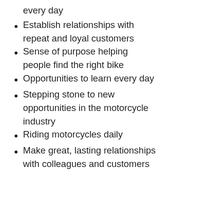every day
Establish relationships with repeat and loyal customers
Sense of purpose helping people find the right bike
Opportunities to learn every day
Stepping stone to new opportunities in the motorcycle industry
Riding motorcycles daily
Make great, lasting relationships with colleagues and customers